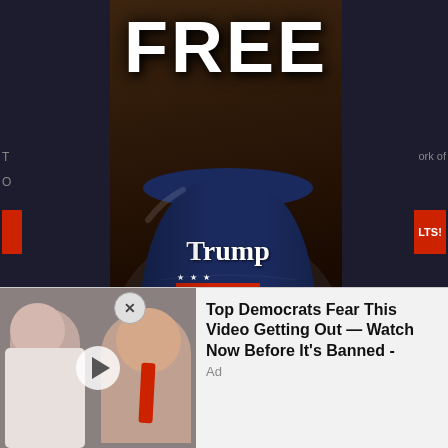[Figure (screenshot): Screenshot of a webpage showing an advertisement popup. Main ad shows 'FREE' in large white text at top, with a Trump 2024 bucket hat decorated in American flag patterns (stars and stripes). Behind the popup are partial webpage elements visible on sides. A close button (x) is visible. Below is a secondary ad showing two people (man and woman) with a play button overlay and text 'Top Democrats Fear This Video Getting Out — Watch Now Before It's Banned - Ad']
FREE
Trump 2024
Top Democrats Fear This Video Getting Out — Watch Now Before It's Banned - Ad